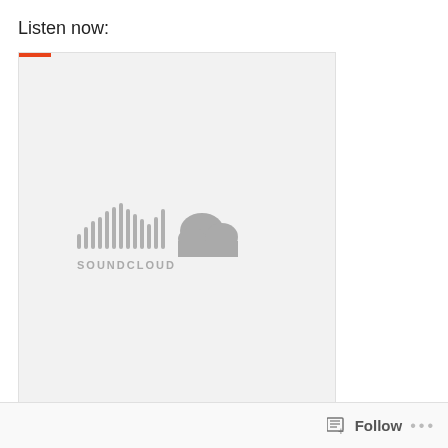Listen now:
[Figure (screenshot): SoundCloud embedded player widget showing the SoundCloud logo (sound wave bars and cloud icon) with text 'SOUNDCLOUD' on a light gray background. An orange bar appears at the top left of the embed.]
Follow